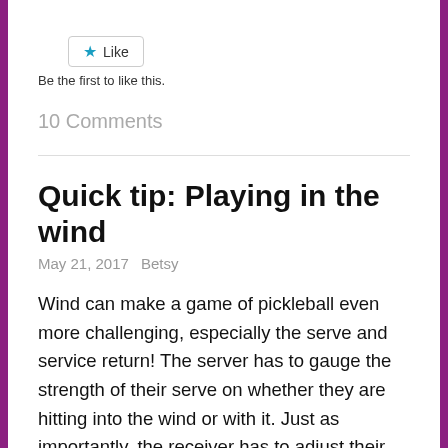[Figure (other): Like button with star icon]
Be the first to like this.
10 Comments
Quick tip: Playing in the wind
May 21, 2017   Betsy
Wind can make a game of pickleball even more challenging, especially the serve and service return!  The server has to gauge the strength of their serve on whether they are hitting into the wind or with it.  Just as importantly, the receiver has to adjust their court position based on the same factors. Here's a… Continue reading